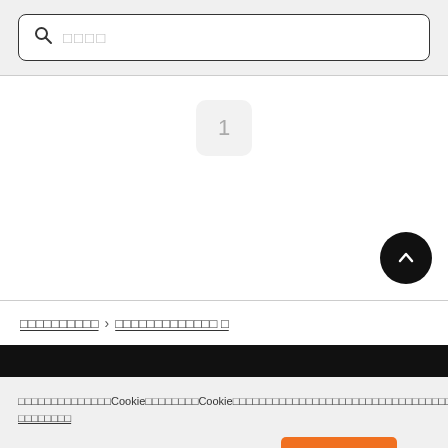□□□□ (search placeholder)
[Figure (screenshot): Page number badge showing '1' in a rounded rectangle]
[Figure (screenshot): Scroll to top button — black circle with up chevron]
□□□□□□□□□□ > □□□□□□□□□□□□□ □
□□□□□□□□□□□□□□Cookie□□□□□□□□Cookie□□□□□□□□□□□□□□□□□□□□□□□□□□□□□□□□□□□□□□□□□□□□□□□□□□□□□□Cookie□□□□□□□□□□□□□□□□□□ □□□□□□□□
□□□□□